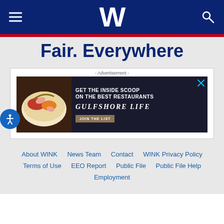WINK News - W logo header with hamburger menu and search icon
Fair. Everywhere
[Figure (screenshot): Advertisement banner for Gulfshore Life magazine - 'Get the inside scoop on the best restaurants - Join the List']
About WINK | News Team | Contact | WINK Privacy Policy | Terms of Use | EEO Report | Public File | Public File Help | Employment